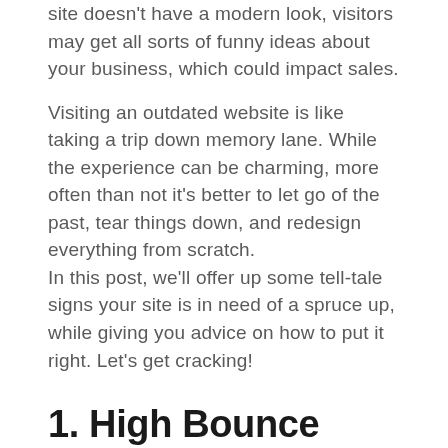site doesn't have a modern look, visitors may get all sorts of funny ideas about your business, which could impact sales.
Visiting an outdated website is like taking a trip down memory lane. While the experience can be charming, more often than not it's better to let go of the past, tear things down, and redesign everything from scratch.
In this post, we'll offer up some tell-tale signs your site is in need of a spruce up, while giving you advice on how to put it right. Let's get cracking!
1. High Bounce Rates